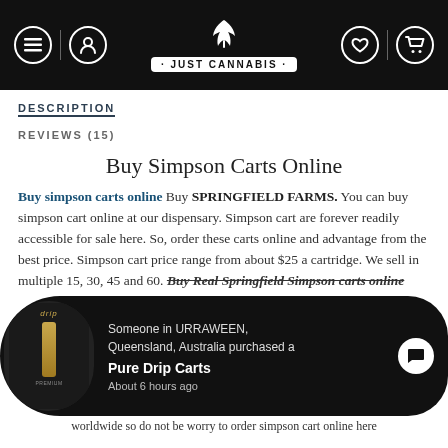[Figure (logo): Just Cannabis website header with logo, navigation icons on black background]
DESCRIPTION
REVIEWS (15)
Buy Simpson Carts Online
Buy simpson carts online Buy SPRINGFIELD FARMS. You can buy simpson cart online at our dispensary. Simpson cart are forever readily accessible for sale here. So, order these carts online and advantage from the best price. Simpson cart price range from about $25 a cartridge. We sell in multiple 15, 30, 45 and 60. Buy Real Springfield Simpson carts online
[Figure (screenshot): Popup notification: Someone in URRAWEEN, Queensland, Australia purchased a Pure Drip Carts About 6 hours ago]
worldwide so do not be worry to order simpson cart online here